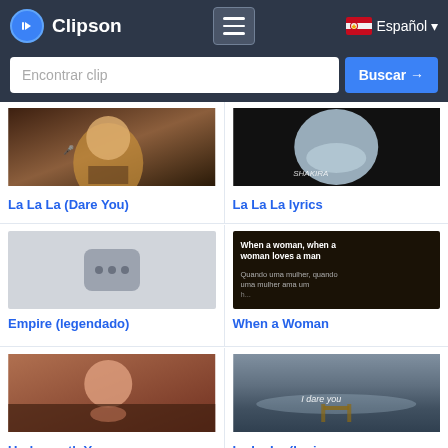Clipson — Español
Encontrar clip — Buscar →
[Figure (screenshot): Thumbnail of La La La (Dare You) - woman singing]
La La La (Dare You)
[Figure (screenshot): Thumbnail of La La La lyrics - album art]
La La La lyrics
[Figure (screenshot): Placeholder thumbnail for Empire (legendado)]
Empire (legendado)
[Figure (screenshot): Dark thumbnail with text: When a woman, when a woman loves a man / Quando uma mulher, quando uma mulher ama um]
When a Woman
[Figure (screenshot): Partial thumbnail - person with pink hair]
Underneath Your
[Figure (screenshot): Partial thumbnail - lake scene with 'I dare you' text]
La La La (Lyric